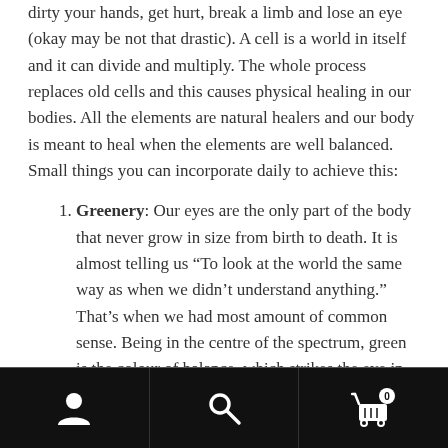dirty your hands, get hurt, break a limb and lose an eye (okay may be not that drastic). A cell is a world in itself and it can divide and multiply. The whole process replaces old cells and this causes physical healing in our bodies. All the elements are natural healers and our body is meant to heal when the elements are well balanced. Small things you can incorporate daily to achieve this:
Greenery: Our eyes are the only part of the body that never grow in size from birth to death. It is almost telling us “To look at the world the same way as when we didn’t understand anything.” That’s when we had most amount of common sense. Being in the centre of the spectrum, green is the colour of balance, which strikes the eye in such a